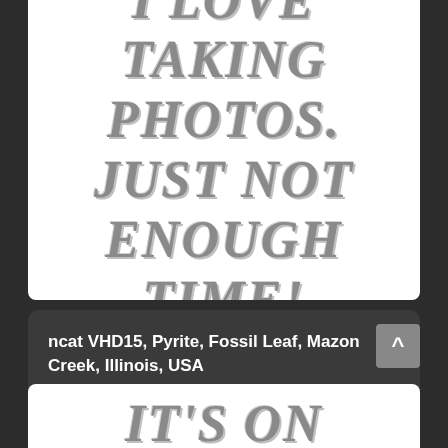[Figure (illustration): White card with large gray decorative text reading 'I LOVE TAKING PHOTOS. JUST NOT ENOUGH TIME!' in bold italic serif font with 3D effect]
ncat VHD15, Pyrite, Fossil Leaf, Mazon Creek, Illinois, USA
TBA
November 17, 2019
[Figure (illustration): White card with large gray decorative text reading "IT'S ON THE LIST OF THINGS TO DO" in bold italic serif font with 3D effect, partially visible]